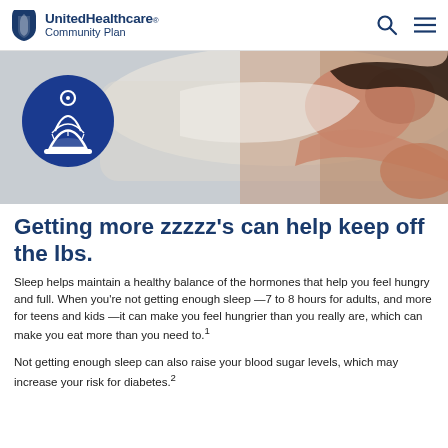UnitedHealthcare Community Plan
[Figure (photo): Banner image of a person sleeping peacefully in bed, with a blue circular icon showing a weight scale on the left side of the banner.]
Getting more zzzzz's can help keep off the lbs.
Sleep helps maintain a healthy balance of the hormones that help you feel hungry and full. When you're not getting enough sleep —7 to 8 hours for adults, and more for teens and kids —it can make you feel hungrier than you really are, which can make you eat more than you need to.¹
Not getting enough sleep can also raise your blood sugar levels, which may increase your risk for diabetes.²